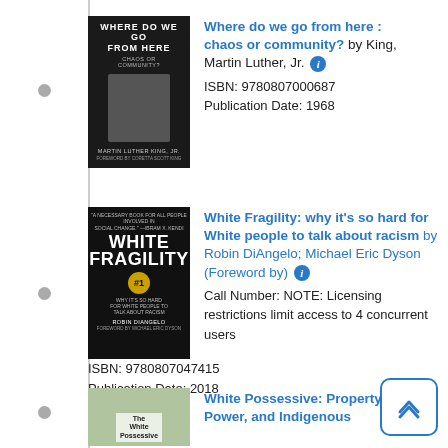Where do we go from here : chaos or community? by King, Martin Luther, Jr.
ISBN: 9780807000687
Publication Date: 1968
[Figure (photo): Book cover of 'Where Do We Go From Here: Chaos or Community?' by Martin Luther King Jr., dark background with portrait photo]
White Fragility: why it's so hard for White people to talk about racism by Robin DiAngelo; Michael Eric Dyson (Foreword by)
Call Number: NOTE: Licensing restrictions limit access to 4 concurrent users
ISBN: 9780807047415
Publication Date: 2018
[Figure (photo): Book cover of 'White Fragility' by Robin DiAngelo, dark background with bold white uppercase title text and #1 medal]
White Possessive: Property, Power, and Indigenous
[Figure (photo): Book cover of 'The White Possessive' with map background]